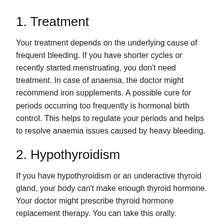1. Treatment
Your treatment depends on the underlying cause of frequent bleeding. If you have shorter cycles or recently started menstruating, you don't need treatment. In case of anaemia, the doctor might recommend iron supplements. A possible cure for periods occurring too frequently is hormonal birth control. This helps to regulate your periods and helps to resolve anaemia issues caused by heavy bleeding.
2. Hypothyroidism
If you have hypothyroidism or an underactive thyroid gland, your body can't make enough thyroid hormone. Your doctor might prescribe thyroid hormone replacement therapy. You can take this orally.